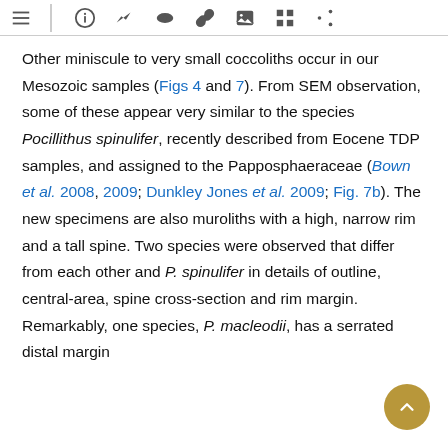[toolbar icons: menu, info, chart, eye, link, image, grid, share]
Other miniscule to very small coccoliths occur in our Mesozoic samples (Figs 4 and 7). From SEM observation, some of these appear very similar to the species Pocillithus spinulifer, recently described from Eocene TDP samples, and assigned to the Papposphaeraceae (Bown et al. 2008, 2009; Dunkley Jones et al. 2009; Fig. 7b). The new specimens are also muroliths with a high, narrow rim and a tall spine. Two species were observed that differ from each other and P. spinulifer in details of outline, central-area, spine cross-section and rim margin. Remarkably, one species, P. macleodii, has a serrated distal margin identical to that of …